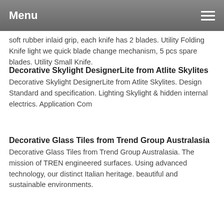Menu
soft rubber inlaid grip, each knife has 2 blades. Utility Folding Knife light we quick blade change mechanism, 5 pcs spare blades. Utility Small Knife.
Decorative Skylight DesignerLite from Atlite Skylites
Decorative Skylight DesignerLite from Atlite Skylites. Design Standard and specification. Lighting Skylight & hidden internal electrics. Application Com
Decorative Glass Tiles from Trend Group Australasia
Decorative Glass Tiles from Trend Group Australasia. The mission of TREN engineered surfaces. Using advanced technology, our distinct Italian heritage. beautiful and sustainable environments.